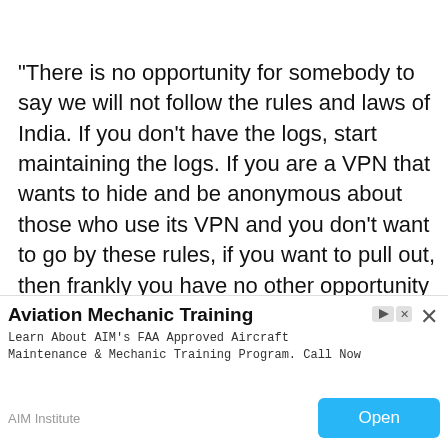"There is no opportunity for somebody to say we will not follow the rules and laws of India. If you don't have the logs, start maintaining the logs. If you are a VPN that wants to hide and be anonymous about those who use its VPN and you don't want to go by these rules, if you want to pull out, then frankly you have no other opportunity but to pull out," he said.
The ministry of electronics and IT has mandated cloud service providers, VPN (Virtual Private Network) firm…
[Figure (other): Advertisement banner for Aviation Mechanic Training by AIM Institute. Title: Aviation Mechanic Training. Description: Learn About AIM's FAA Approved Aircraft Maintenance & Mechanic Training Program. Call Now. Source: AIM Institute. Button: Open. Has close (X) and ad badge icons.]